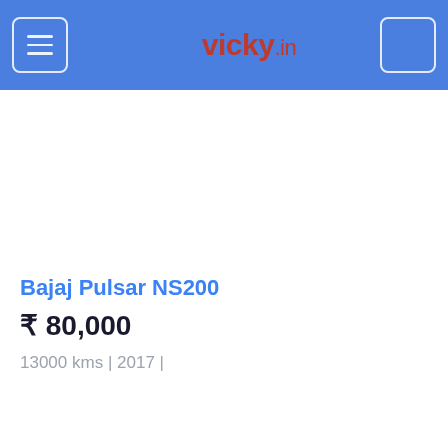vicky.in
Bajaj Pulsar NS200
₹ 80,000
13000 kms | 2017 |